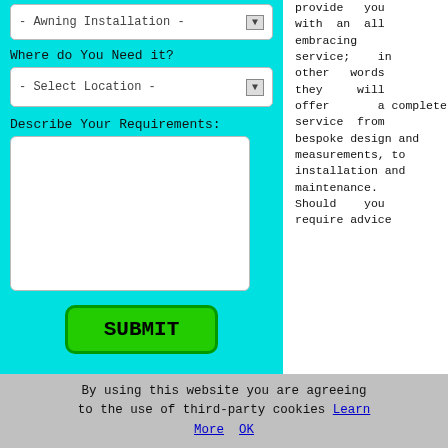[Figure (screenshot): Web form panel with cyan/turquoise background. Contains a dropdown showing '- Awning Installation -', a label 'Where do You Need it?' with a '- Select Location -' dropdown, a 'Describe Your Requirements:' label with a textarea, and a green SUBMIT button.]
provide you with an all embracing service; in other words they will offer a complete service from bespoke design and measurements, to installation and maintenance.

Should you require advice
about the sort of awning that you ought
[Figure (photo): Photo of striped awning fabric with brown/beige and dark stripes, viewed from below, with foliage visible at the bottom right.]
By using this website you are agreeing to the use of third-party cookies Learn More  OK